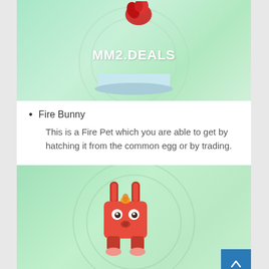[Figure (screenshot): Screenshot of MM2.DEALS website showing a green-tinted game item display with circular platform and watermark text 'MM2.DEALS'. A red flame/object is visible at the top of the circular platform.]
Fire Bunny
This is a Fire Pet which you are able to get by hatching it from the common egg or by trading.
[Figure (screenshot): Screenshot of MM2.DEALS showing a red blocky bunny character (Fire Bunny) standing on a circular platform against a green gradient background. A blue 'back to top' arrow button is visible in the bottom-right corner.]